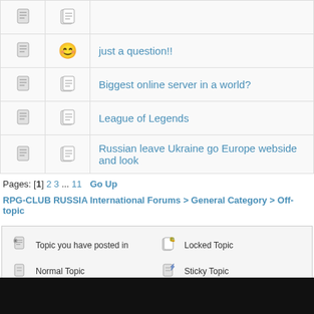| [icon] | [smiley] | just a question!! |
| [icon] | [icon] | Biggest online server in a world? |
| [icon] | [icon] | League of Legends |
| [icon] | [icon] | Russian leave Ukraine go Europe webside and look |
Pages: [1] 2 3 ... 11   Go Up
RPG-CLUB RUSSIA International Forums > General Category > Off-topic
Topic you have posted in
Normal Topic
Hot Topic (More than 15 replies)
Very Hot Topic (More than 25 replies)
Locked Topic
Sticky Topic
Poll